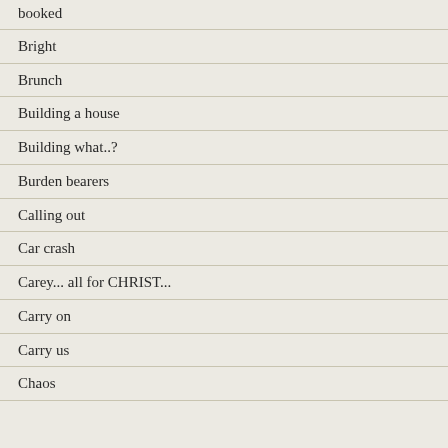booked
Bright
Brunch
Building a house
Building what..?
Burden bearers
Calling out
Car crash
Carey... all for CHRIST...
Carry on
Carry us
Chaos